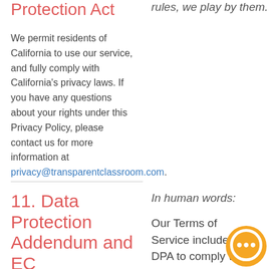Protection Act
rules, we play by them.
We permit residents of California to use our service, and fully comply with California's privacy laws. If you have any questions about your rights under this Privacy Policy, please contact us for more information at privacy@transparentclassroom.com.
11. Data Protection Addendum and EC
In human words:
Our Terms of Service include a DPA to comply with the European